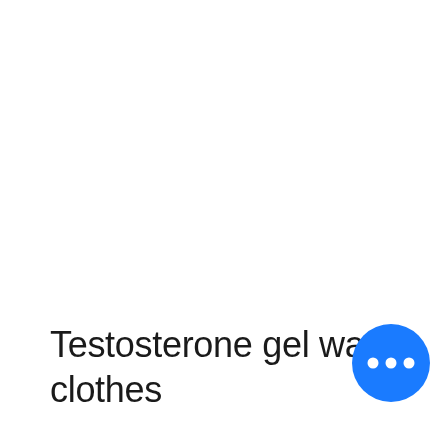Testosterone gel washing clothes
[Figure (other): Blue circular button with three white dots (more options / ellipsis button)]